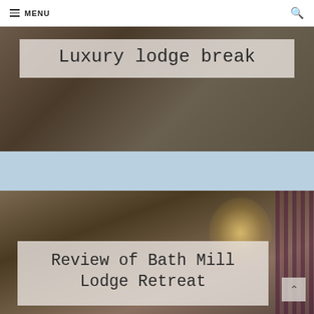MENU
[Figure (photo): Interior photo of a lodge with wood flooring and furniture, with a semi-transparent text overlay reading 'Luxury lodge break']
Luxury lodge break
[Figure (photo): Interior photo of a lodge bedroom with a warm glowing lamp, wood-paneled walls, and plaid curtains, with a semi-transparent text overlay reading 'Review of Bath Mill Lodge Retreat']
Review of Bath Mill Lodge Retreat